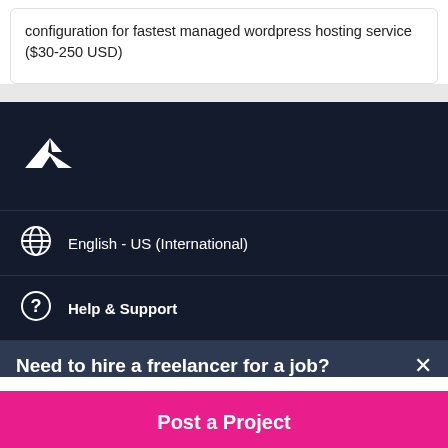configuration for fastest managed wordpress hosting service ($30-250 USD)
English - US (International)
Help & Support
Need to hire a freelancer for a job?
Post a Project